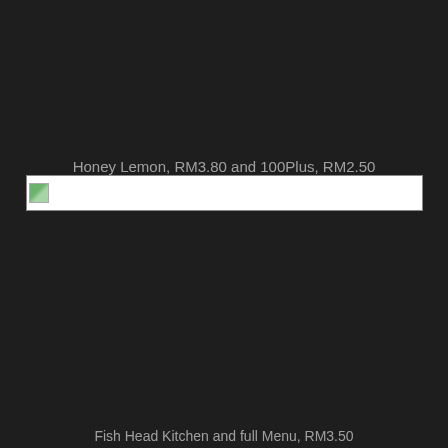Honey Lemon, RM3.80 and 100Plus, RM2.50
[Figure (photo): Broken image placeholder with small green icon thumbnail, shown in a bordered rectangle]
Fish Head Kitchen and full Menu, RM3.50